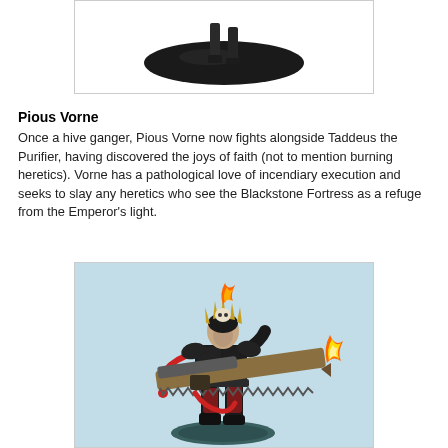[Figure (photo): Top portion of a painted Warhammer miniature figure on a black oval base, showing the base and lower portion of the figure against a white background]
Pious Vorne
Once a hive ganger, Pious Vorne now fights alongside Taddeus the Purifier, having discovered the joys of faith (not to mention burning heretics). Vorne has a pathological love of incendiary execution and seeks to slay any heretics who see the Blackstone Fortress as a refuge from the Emperor's light.
[Figure (photo): Painted Warhammer 40K miniature of Pious Vorne — a hive ganger character in dark armor with spiked headgear and a flame, wielding a large eviscerator (chainsword-like weapon) with flames at the tip, on a teal-painted base. Light blue background.]